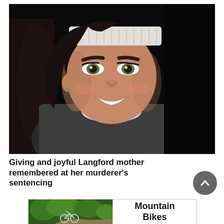[Figure (photo): Portrait photo of a smiling young woman with dark hair, wearing a white crocheted headband and a grey patterned coat with white fleece trim, seated in a dark car interior at night.]
Giving and joyful Langford mother remembered at her murderer's sentencing
[Figure (photo): Advertisement image showing a mountain bike on a wooded trail, with text 'Mountain Bikes' on the right side.]